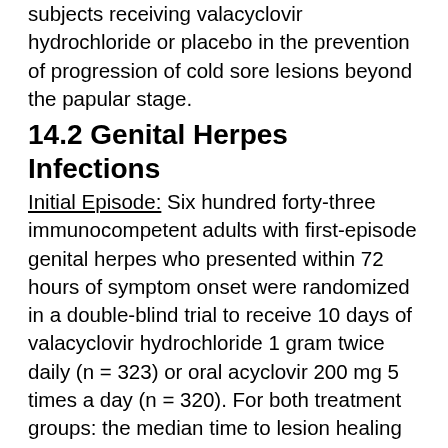subjects receiving valacyclovir hydrochloride or placebo in the prevention of progression of cold sore lesions beyond the papular stage.
14.2 Genital Herpes Infections
Initial Episode: Six hundred forty-three immunocompetent adults with first-episode genital herpes who presented within 72 hours of symptom onset were randomized in a double-blind trial to receive 10 days of valacyclovir hydrochloride 1 gram twice daily (n = 323) or oral acyclovir 200 mg 5 times a day (n = 320). For both treatment groups: the median time to lesion healing was 9 days, the median time to cessation of pain was 5 days, the median time to cessation of initial shedding was 3 days...